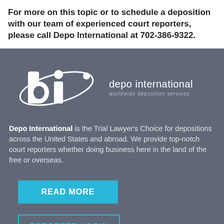For more on this topic or to schedule a deposition with our team of experienced court reporters, please call Depo International at 702-386-9322.
[Figure (logo): Depo International logo — stylized 'di' letters with orbital ellipse graphic, white on dark grey background, with 'depo international' and 'worldwide deposition services' text]
Depo International is the Trial Lawyer's Choice for depositions across the United States and abroad. We provide top-notch court reporters whether doing business here in the land of the free or overseas.
READ MORE
REPORTER LOGIN